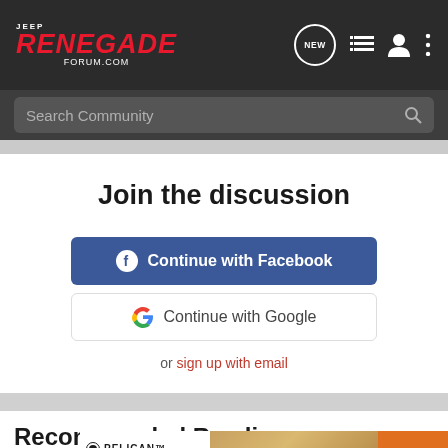JEEP RENEGADE FORUM.COM
Search Community
Join the discussion
Continue with Facebook
Continue with Google
or sign up with email
Recommended Reading
Can so...
[Figure (screenshot): Pelican 45QT Wheeled Elite Cooler advertisement banner with SHOP NOW button]